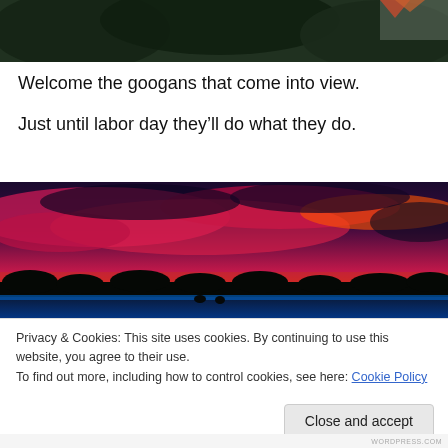[Figure (photo): Top portion of a photo showing dark green foliage/trees with what appears to be a red/orange flag or object visible at the top]
Welcome the googans that come into view.
Just until labor day they’ll do what they do.
[Figure (photo): A dramatic sunset or sunrise sky with vivid pink, red, and orange clouds against a dark blue sky, with dark silhouettes of trees/land along the horizon and what appears to be a water reflection at the bottom]
Privacy & Cookies: This site uses cookies. By continuing to use this website, you agree to their use.
To find out more, including how to control cookies, see here: Cookie Policy